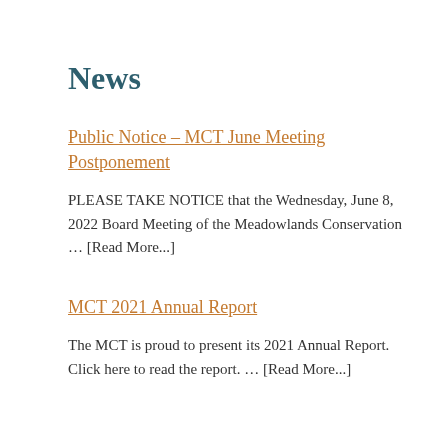News
Public Notice – MCT June Meeting Postponement
PLEASE TAKE NOTICE that the Wednesday, June 8, 2022 Board Meeting of the Meadowlands Conservation … [Read More...]
MCT 2021 Annual Report
The MCT is proud to present its 2021 Annual Report. Click here to read the report. … [Read More...]